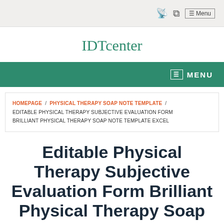Menu
IDTcenter
MENU
HOMEPAGE / PHYSICAL THERAPY SOAP NOTE TEMPLATE / EDITABLE PHYSICAL THERAPY SUBJECTIVE EVALUATION FORM BRILLIANT PHYSICAL THERAPY SOAP NOTE TEMPLATE EXCEL
Editable Physical Therapy Subjective Evaluation Form Brilliant Physical Therapy Soap Note Template Excel